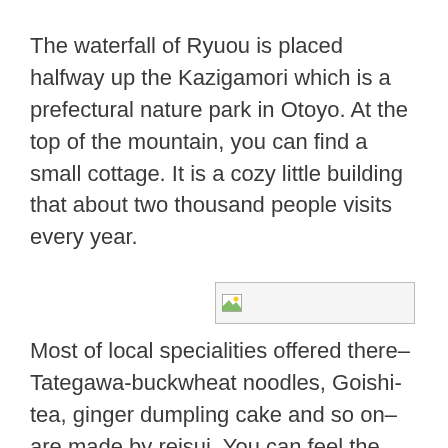The waterfall of Ryuou is placed halfway up the Kazigamori which is a prefectural nature park in Otoyo. At the top of the mountain, you can find a small cottage. It is a cozy little building that about two thousand people visits every year.
[Figure (photo): A broken/missing image placeholder box with a small image icon in the top-left corner]
Most of local specialities offered there–Tategawa-buckwheat noodles, Goishi-tea, ginger dumpling cake and so on–are made by reisui. You can feel the nature